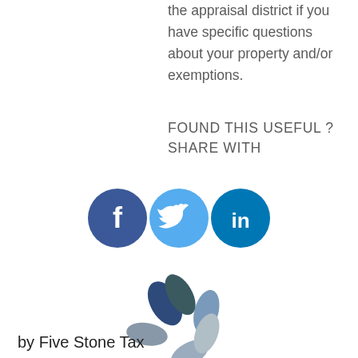the appraisal district if you have specific questions about your property and/or exemptions.
FOUND THIS USEFUL ? SHARE WITH
[Figure (illustration): Three social media icons: Facebook (dark blue circle with white f), Twitter (light blue circle with white bird), LinkedIn (dark teal circle with white in)]
[Figure (logo): Five Stone Tax logo: circular pinwheel shape made of curved petal segments in dark blue, medium blue, dark teal, light slate gray, and muted blue-gray]
by Five Stone Tax